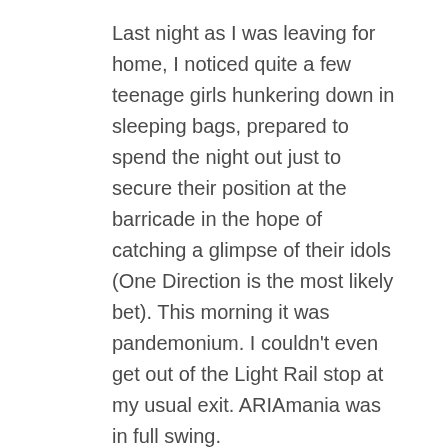Last night as I was leaving for home, I noticed quite a few teenage girls hunkering down in sleeping bags, prepared to spend the night out just to secure their position at the barricade in the hope of catching a glimpse of their idols (One Direction is the most likely bet). This morning it was pandemonium. I couldn't even get out of the Light Rail stop at my usual exit. ARIAmania was in full swing.
Our media passes gained us access to our designated fishing spot and I felt unworthy of such easy access – no sleeping bags required! We were away from the arrivals red carpet....sort of more like a red vestibule. Celebs would run the gauntlet of the street